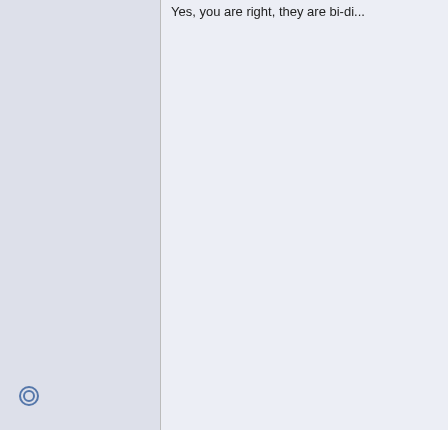Yes, could be Radio Shack antennas. In one of the VHF antenna images, can s... For many years, Antennacraft w...
Quote:
...
Anybody know? Are these t...
Yes, you are right, they are bi-di...
2-Aug-2020, 8:32 PM
bobsgarage
Antenna Enthusiast
[Figure (photo): Avatar photo of antenna tower against cloudy sky]
Join Date: Mar 2016
Location: Beach Park IL
Quote:
Originally Posted by tripelo
Yes, could be Radio Shack antennas.
In one of the VHF antenna images, can s...
For many years, Antennacraft was owne...
Yes, you are right, they are bi-directiona...